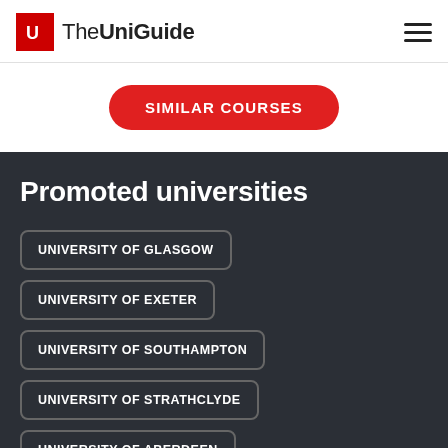The UniGuide
SIMILAR COURSES
Promoted universities
UNIVERSITY OF GLASGOW
UNIVERSITY OF EXETER
UNIVERSITY OF SOUTHAMPTON
UNIVERSITY OF STRATHCLYDE
UNIVERSITY OF ABERDEEN
SWANSEA UNIVERSITY
UNIVERSITY OF THE ARTS LONDON
UNIVERSITY OF BIRMINGHAM
UNIVERSITY OF LEICESTER
QUEEN'S UNIVERSITY BELFAST